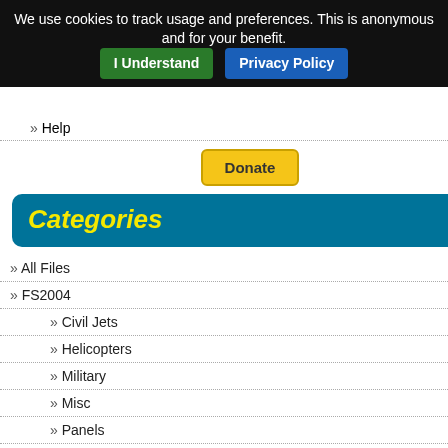We use cookies to track usage and preferences. This is anonymous and for your benefit. | I Understand | Privacy Policy
Help
[Figure (other): PayPal Donate button (yellow/gold rounded rectangle)]
Categories
All Files
FS2004
Civil Jets
Helicopters
Military
Misc
Panels
Payware
Props
Scenery
[Figure (photo): Top aircraft thumbnail showing rear view of a white twin-prop plane on tarmac]
pleasant fli... manuals and gauges, custo... Sun-Air Denm... liveries and p... Bob May - Pre...
Posted Apr 25
Britten-Norma... Zip file preview... 13.00Mb (511... Britten-Norma... Grenadine isla...
[Figure (photo): Britten-Norman Islander aircraft with green/white livery on tarmac]
Posted Apr 25
Cessna C172... Zip file preview... 12.11Mb (255... FS2004 Cess... panel from R... Rooks.
[Figure (photo): Cessna C172 aircraft with blue/yellow paint scheme in flight over clouds]